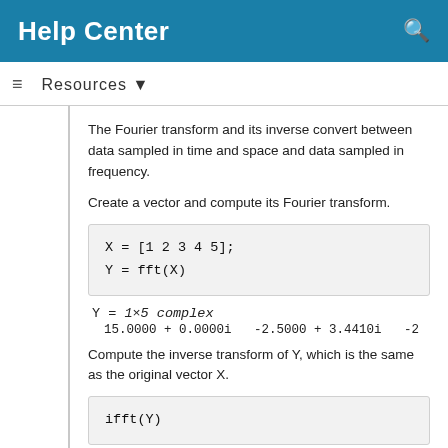Help Center
Resources ▼
The Fourier transform and its inverse convert between data sampled in time and space and data sampled in frequency.
Create a vector and compute its Fourier transform.
Y = 1×5 complex
15.0000 + 0.0000i   -2.5000 + 3.4410i   -2
Compute the inverse transform of Y, which is the same as the original vector X.